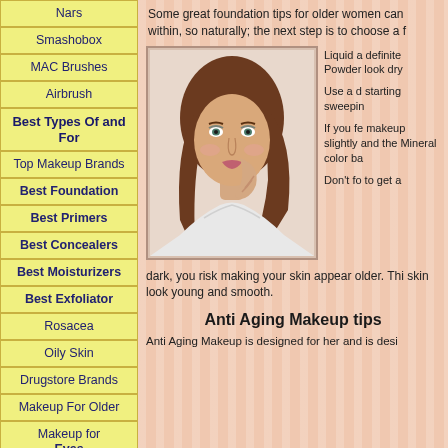Nars
Smashobox
MAC Brushes
Airbrush
Best Types Of and For
Top Makeup Brands
Best Foundation
Best Primers
Best Concealers
Best Moisturizers
Best Exfoliator
Rosacea
Oily Skin
Drugstore Brands
Makeup For Older
Makeup for Eyes
Eye Primer
Some great foundation tips for older women can within, so naturally; the next step is to choose a f
[Figure (photo): Portrait photo of a young woman with brown wavy hair, wearing a white off-shoulder top, touching her face with her hand, looking at camera]
Liquid a definite Powder look dry Use a d starting sweepin If you fe makeup slightly and the Mineral color ba Don't fo to get a
dark, you risk making your skin appear older. Thi skin look young and smooth.
Anti Aging Makeup tips
Anti Aging Makeup is designed for her and is desi